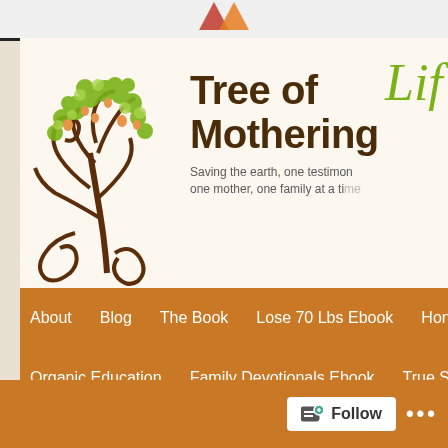[Figure (logo): WordPress logo fragment at top center, orange/red triangular shape]
[Figure (illustration): Decorative tree illustration with brown swirling trunk, green leaves, and orange heart-shaped fruits/accents]
Tree of Life Mothering
Saving the earth, one testimony, one mother, one family at a time
About
Blog
The Book
Lose 70 Lbs Ebook
Honoring Our Fe...
Organic Education
Family Devotionals Ebook
True Science
Br...
Homemaking Helps
Other Resources
Contact
My Usborne Bo...
Online Summer Retreat
Follow